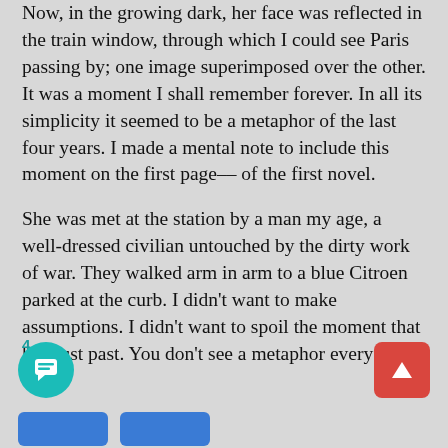Now, in the growing dark, her face was reflected in the train window, through which I could see Paris passing by; one image superimposed over the other. It was a moment I shall remember forever. In all its simplicity it seemed to be a metaphor of the last four years. I made a mental note to include this moment on the first page– of the first novel.
She was met at the station by a man my age, a well-dressed civilian untouched by the dirty work of war. They walked arm in arm to a blue Citroen parked at the curb. I didn't want to make assumptions. I didn't want to spoil the moment that had just past. You don't see a metaphor every day.
4